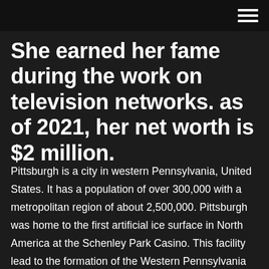She earned her fame during the work on television networks. as of 2021, her net worth is $2 million.
Pittsburgh is a city in western Pennsylvania, United States. It has a population of over 300,000 with a metropolitan region of about 2,500,000. Pittsburgh was home to the first artificial ice surface in North America at the Schenley Park Casino. This facility lead to the formation of the Western Pennsylvania Hockey League and eventually helped pave the way to the first ever openly professional Mansion casino is part of the casino.com network and is as such a worthy and safe competitor in our best 5 list. The casino